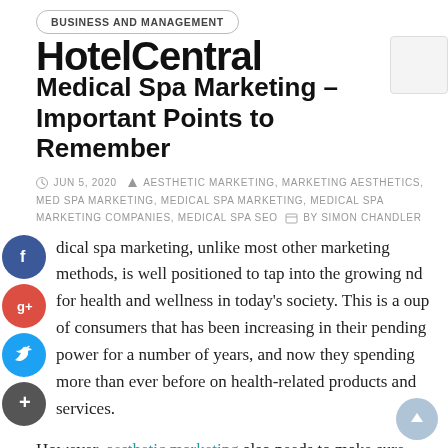BUSINESS AND MANAGEMENT
HotelCentral / Medical Spa Marketing – Important Points to Remember
JUN 5, 2020  AESTHETIC MARKETING, MARKETING AESTHETICS, MED SPA MARKETING, MEDICAL SPA MARKETING, MEDICAL SPA MARKETING COMPANIES, MEDICAL SPA SEO  BY SIMON CHANDLER
Medical spa marketing, unlike most other marketing methods, is well positioned to tap into the growing demand for health and wellness in today's society. This is a group of consumers that has been increasing in their spending power for a number of years, and now they are spending more than ever before on health-related products and services.
However, aesthetic marketing also needs to make sure